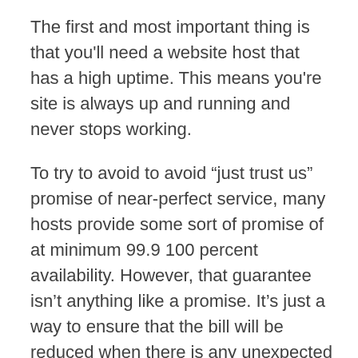The first and most important thing is that you'll need a website host that has a high uptime. This means you're site is always up and running and never stops working.
To try to avoid to avoid “just trust us” promise of near-perfect service, many hosts provide some sort of promise of at minimum 99.9 100 percent availability. However, that guarantee isn’t anything like a promise. It’s just a way to ensure that the bill will be reduced when there is any unexpected downtime. There’s lots of fine print on these warranties which includes not accepting self-reported or third party information about uptime and offering refunds for downtime that was out of